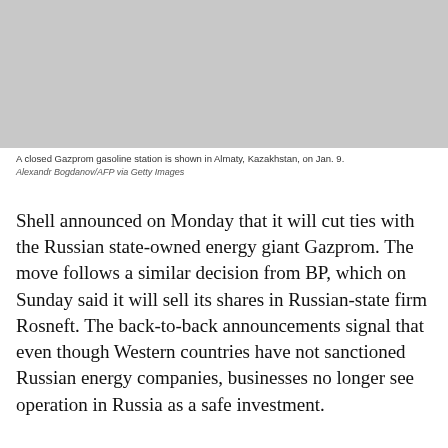[Figure (photo): A closed Gazprom gasoline station shown in Almaty, Kazakhstan — grey/placeholder image area]
A closed Gazprom gasoline station is shown in Almaty, Kazakhstan, on Jan. 9.
Alexandr Bogdanov/AFP via Getty Images
Shell announced on Monday that it will cut ties with the Russian state-owned energy giant Gazprom. The move follows a similar decision from BP, which on Sunday said it will sell its shares in Russian-state firm Rosneft. The back-to-back announcements signal that even though Western countries have not sanctioned Russian energy companies, businesses no longer see operation in Russia as a safe investment.